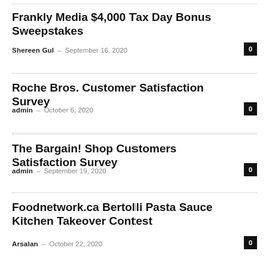Frankly Media $4,000 Tax Day Bonus Sweepstakes
Shereen Gul – September 16, 2020
Roche Bros. Customer Satisfaction Survey
admin – October 6, 2020
The Bargain! Shop Customers Satisfaction Survey
admin – September 19, 2020
Foodnetwork.ca Bertolli Pasta Sauce Kitchen Takeover Contest
Arsalan – October 22, 2020